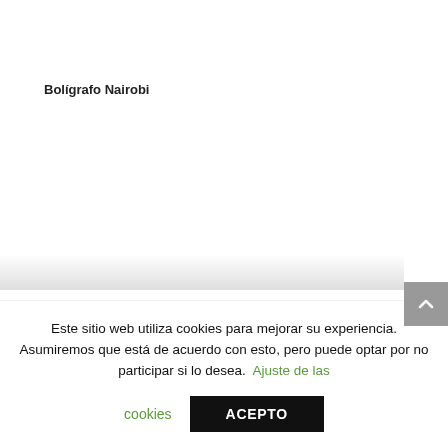Bolígrafo Nairobi
Este sitio web utiliza cookies para mejorar su experiencia. Asumiremos que está de acuerdo con esto, pero puede optar por no participar si lo desea. Ajuste de las cookies ACEPTO